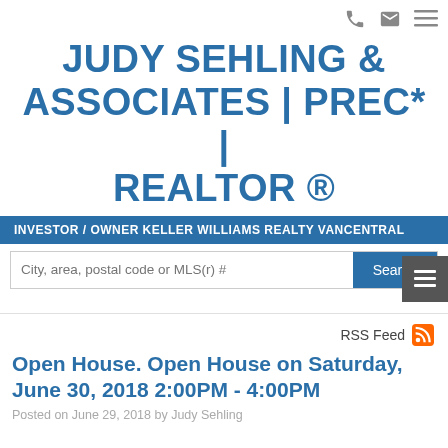JUDY SEHLING & ASSOCIATES | PREC* | REALTOR ®
INVESTOR / OWNER KELLER WILLIAMS REALTY VANCENTRAL
City, area, postal code or MLS(r) #
RSS Feed
Open House. Open House on Saturday, June 30, 2018 2:00PM - 4:00PM
Posted on June 29, 2018 by Judy Sehling